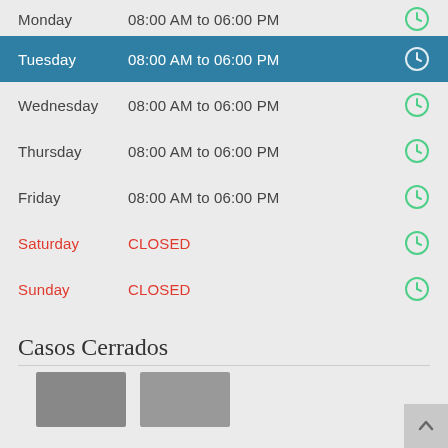Monday  08:00 AM to 06:00 PM
Tuesday  08:00 AM to 06:00 PM
Wednesday  08:00 AM to 06:00 PM
Thursday  08:00 AM to 06:00 PM
Friday  08:00 AM to 06:00 PM
Saturday  CLOSED
Sunday  CLOSED
Casos Cerrados
[Figure (photo): Two thumbnail photos below the Casos Cerrados heading]